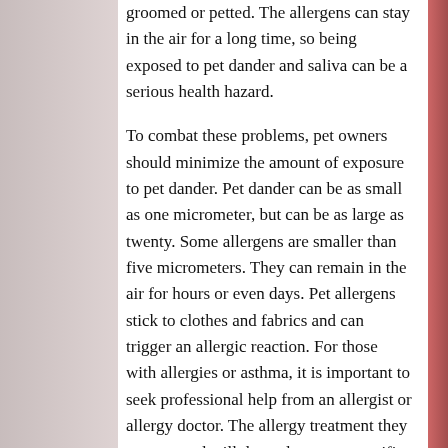groomed or petted. The allergens can stay in the air for a long time, so being exposed to pet dander and saliva can be a serious health hazard.
To combat these problems, pet owners should minimize the amount of exposure to pet dander. Pet dander can be as small as one micrometer, but can be as large as twenty. Some allergens are smaller than five micrometers. They can remain in the air for hours or even days. Pet allergens stick to clothes and fabrics and can trigger an allergic reaction. For those with allergies or asthma, it is important to seek professional help from an allergist or allergy doctor. The allergy treatment they recommend will depend on your specific allergies and will be based on the type of allergy you have.
Seeing a doctor is one of the first steps in finding out whether you have an allergy to pet dander and fur. A doctor can also test to determine if...